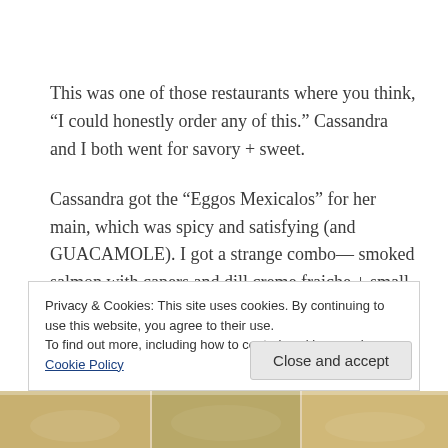This was one of those restaurants where you think, “I could honestly order any of this.” Cassandra and I both went for savory + sweet.
Cassandra got the “Eggos Mexicalos” for her main, which was spicy and satisfying (and GUACAMOLE). I got a strange combo— smoked salmon with capers and dill creme fraiche + small stack of blueberry pancakes with orange
Privacy & Cookies: This site uses cookies. By continuing to use this website, you agree to their use.
To find out more, including how to control cookies, see here: Cookie Policy
Close and accept
[Figure (photo): Photo strip at the bottom of the page showing food images]